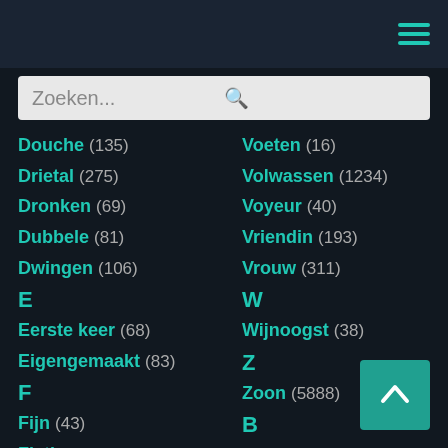Navigation header with hamburger menu
Zoeken...
Douche (135)
Drietal (275)
Dronken (69)
Dubbele (81)
Dwingen (106)
E
Eerste keer (68)
Eigengemaakt (83)
F
Fijn (43)
Fisting (14)
G
Gangbang (43)
Voeten (16)
Volwassen (1234)
Voyeur (40)
Vriendin (193)
Vrouw (311)
W
Wijnoogst (38)
Z
Zoon (5888)
B
blond (689)
boy (1904)
broodmager (94)